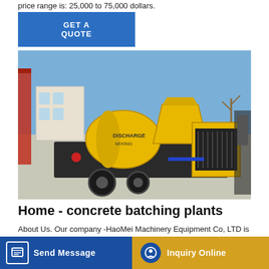price range is: 25,000 to 75,000 dollars.
GET A QUOTE
[Figure (photo): Yellow concrete mixer pump machine on a trailer, photographed outdoors at a manufacturing facility with a blue sky background.]
Home - concrete batching plants
About Us. Our company -HaoMei Machinery Equipment Co, LTD is one of leading construction machinery machine export more than 20 years, our main product
Send Message
Inquiry Online